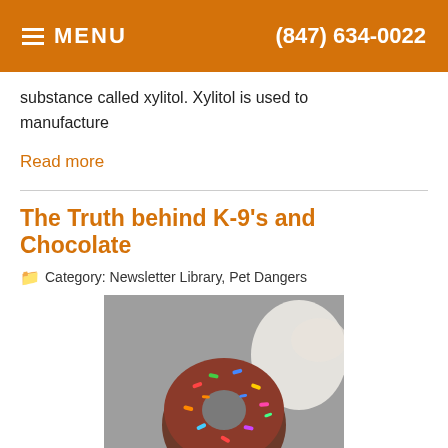MENU   (847) 634-0022
substance called xylitol. Xylitol is used to manufacture
Read more
The Truth behind K-9's and Chocolate
Category: Newsletter Library, Pet Dangers
[Figure (photo): A hand holding a chocolate donut with colorful sprinkles, with a dog visible in the background]
We have all heard people say things such as "Don't give your dog chocolate, it will kill him!" or "Even a small amount of cho... ...tunately